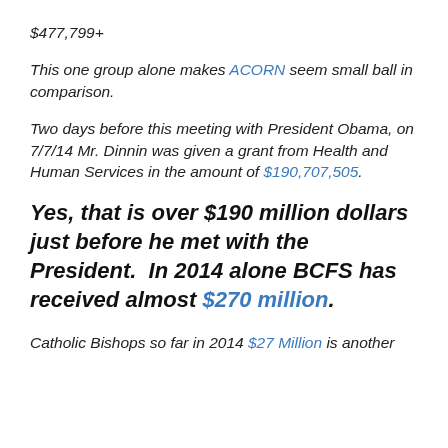$477,799+
This one group alone makes ACORN seem small ball in comparison.
Two days before this meeting with President Obama, on 7/7/14 Mr. Dinnin was given a grant from Health and Human Services in the amount of $190,707,505.
Yes, that is over $190 million dollars just before he met with the President.  In 2014 alone BCFS has received almost $270 million.
Catholic Bishops so far in 2014 $27 Million is another